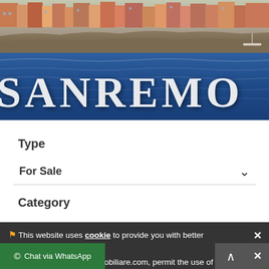[Figure (photo): Aerial/waterfront photograph of Sanremo, Italy, showing the city buildings on hills, rocky breakwater, and blue Mediterranean sea in the foreground. The word SANREMO is overlaid in large white serif letters across the sea portion of the image.]
Type
For Sale
Category
🚩 This website uses cookie to provide you with better navigation.
If you use www.ilpuntoimmobiliare.com, permit the use of cookies.